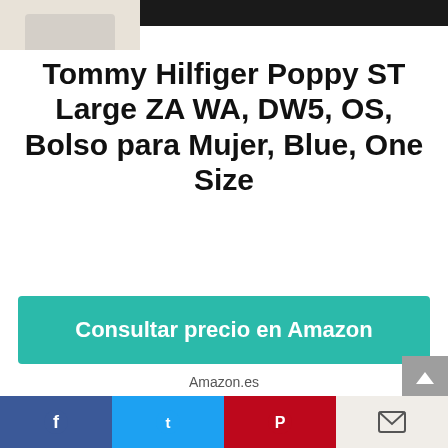[Figure (photo): Top portion showing a product photo strip with a light-colored bag on the left and a dark bar on the right]
Tommy Hilfiger Poppy ST Large ZA WA, DW5, OS, Bolso para Mujer, Blue, One Size
Consultar precio en Amazon
Amazon.es
Features
Tommy Hilfiger
[Figure (infographic): Social media share bar at the bottom with Facebook, Twitter, Pinterest, and email buttons]